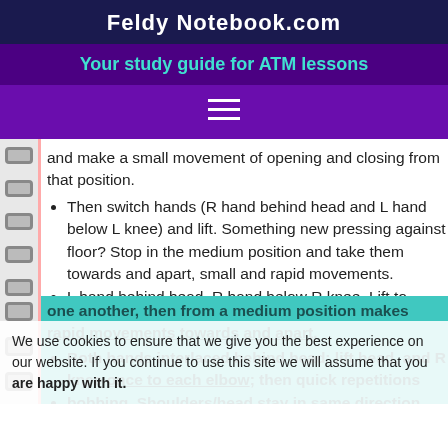Feldy Notebook.com
Your study guide for ATM lessons
and make a small movement of opening and closing from that position.
Then switch hands (R hand behind head and L hand below L knee) and lift. Something new pressing against floor? Stop in the medium position and take them towards and apart, small and rapid movements.
L hand behind head, R hand below R knee. Lift to one another, then from a medium position make rapid movements towards and apart.
Both hands interlaced behind head: lift head, and R knee once to each elbow; then quick repetitions bobbing. Shoulders/head stay in same direction.
We use cookies to ensure that we give you the best experience on our website. If you continue to use this site we will assume that you are happy with it.